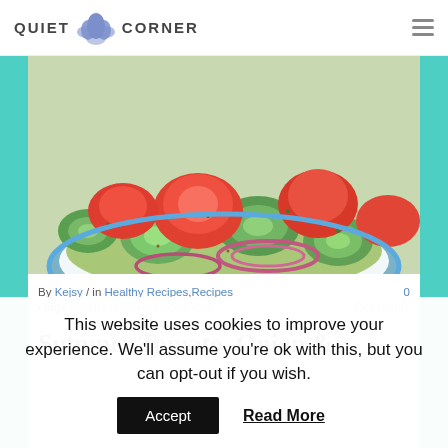QUIET CORNER
[Figure (photo): Bowl of summer salad with cucumber slices, tomato wedges, red onion rings, and herbs]
By Kejsy / in Healthy Recipes, Recipes / tags healthy food, recipe, recipes  0 Comments
Summer Tomato, Onion &
This website uses cookies to improve your experience. We'll assume you're ok with this, but you can opt-out if you wish.
Accept  Read More